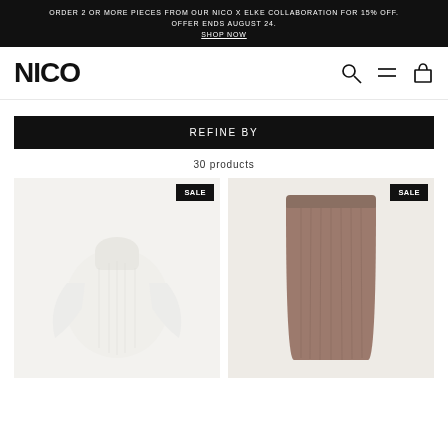ORDER 2 OR MORE PIECES FROM OUR NICO X ELKE COLLABORATION FOR 15% OFF. OFFER ENDS AUGUST 24. SHOP NOW
NICO
REFINE BY
30 products
[Figure (photo): White knit oversized sweater/jacket on light grey background with Sale badge]
[Figure (photo): Brown/taupe knit midi skirt on neutral background with Sale badge]